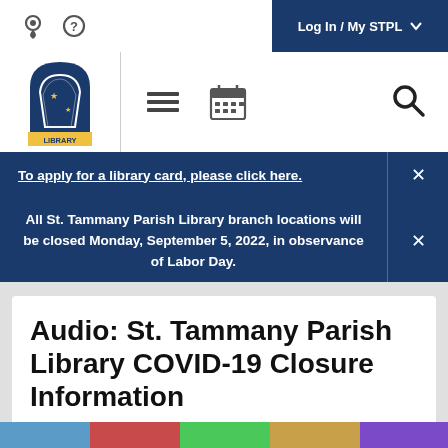Log In / My STPL
[Figure (logo): St. Tammany Parish Library logo with stylized book/state outline and gold stars]
To apply for a library card, please click here.
All St. Tammany Parish Library branch locations will be closed Monday, September 5, 2022, in observance of Labor Day.
Audio: St. Tammany Parish Library COVID-19 Closure Information